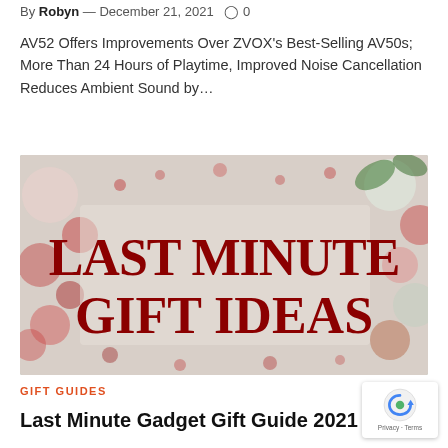By Robyn — December 21, 2021  ○ 0
AV52 Offers Improvements Over ZVOX's Best-Selling AV50s; More Than 24 Hours of Playtime, Improved Noise Cancellation Reduces Ambient Sound by...
[Figure (photo): Decorative holiday image with text reading 'LAST MINUTE GIFT IDEAS' in large dark red letters on a festive background with candy canes, red berries, and holiday decorations]
GIFT GUIDES
Last Minute Gadget Gift Guide 2021